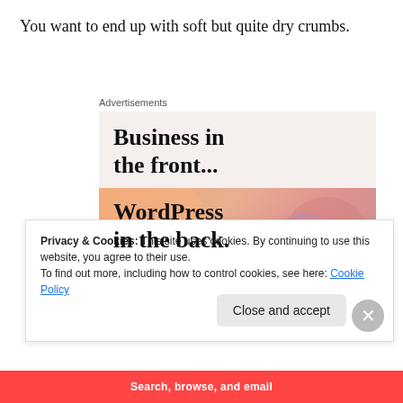You want to end up with soft but quite dry crumbs.
[Figure (other): Advertisement banner: top section with light beige background showing 'Business in the front...' in bold serif text; bottom section with orange/peach gradient background with decorative blobs showing 'WordPress in the back.' in bold serif text. Labeled 'Advertisements' at top.]
Privacy & Cookies: This site uses cookies. By continuing to use this website, you agree to their use.
To find out more, including how to control cookies, see here: Cookie Policy
Close and accept
Search, browse, and email